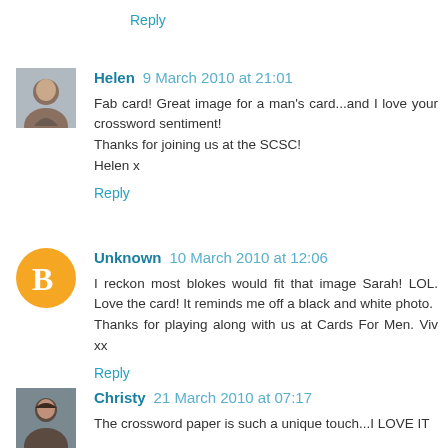Reply
Helen 9 March 2010 at 21:01
Fab card! Great image for a man's card...and I love your crossword sentiment!
Thanks for joining us at the SCSC!
Helen x
Reply
Unknown 10 March 2010 at 12:06
I reckon most blokes would fit that image Sarah! LOL. Love the card! It reminds me off a black and white photo.
Thanks for playing along with us at Cards For Men. Viv xx
Reply
Christy 21 March 2010 at 07:17
The crossword paper is such a unique touch...I LOVE IT